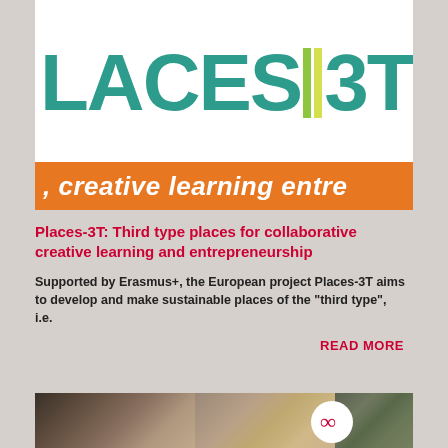[Figure (logo): PLACES-3T logo with teal text and green/lime vertical bars, followed by orange band with italic text 'creative learning entre']
Places-3T: Third type places for collaborative creative learning and entrepreneurship
Supported by Erasmus+, the European project Places-3T aims to develop and make sustainable places of the "third type", i.e.
READ MORE
[Figure (photo): Photo of three people (two women and one man) with a circular logo overlay in the bottom right area]